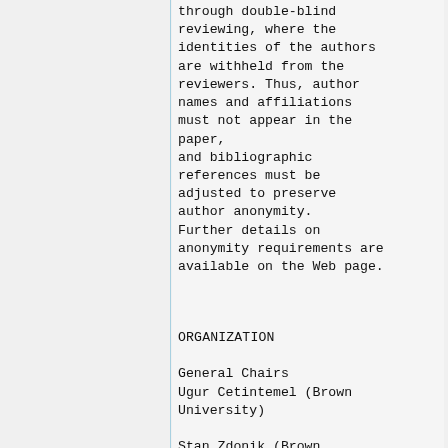through double-blind reviewing, where the identities of the authors are withheld from the reviewers. Thus, author names and affiliations must not appear in the paper,
and bibliographic references must be adjusted to preserve author anonymity. Further details on anonymity requirements are available on the Web page.
ORGANIZATION
General Chairs
Ugur Cetintemel (Brown University)

Stan Zdonik (Brown